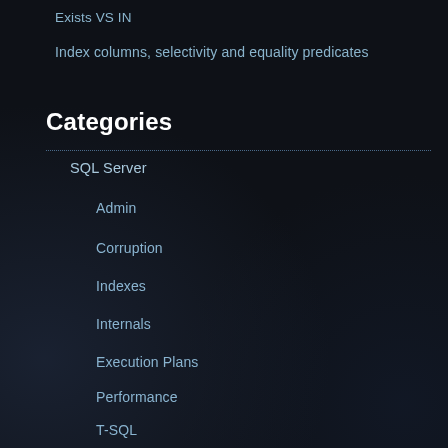Exists VS IN
Index columns, selectivity and equality predicates
Categories
SQL Server
Admin
Corruption
Indexes
Internals
Execution Plans
Performance
T-SQL
Personal
Artificial Intelligence
Career